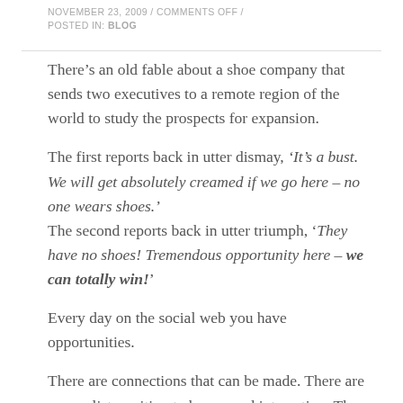NOVEMBER 23, 2009 / COMMENTS OFF / POSTED IN: BLOG
There’s an old fable about a shoe company that sends two executives to a remote region of the world to study the prospects for expansion.
The first reports back in utter dismay, ‘It’s a bust. We will get absolutely creamed if we go here – no one wears shoes.’ The second reports back in utter triumph, ‘They have no shoes! Tremendous opportunity here – we can totally win!’
Every day on the social web you have opportunities.
There are connections that can be made. There are evangelists waiting to be spurred into action. There are customers waiting to be won over.